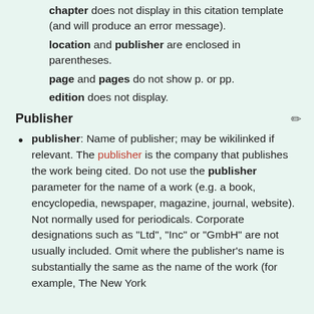chapter does not display in this citation template (and will produce an error message).
location and publisher are enclosed in parentheses.
page and pages do not show p. or pp.
edition does not display.
Publisher
publisher: Name of publisher; may be wikilinked if relevant. The publisher is the company that publishes the work being cited. Do not use the publisher parameter for the name of a work (e.g. a book, encyclopedia, newspaper, magazine, journal, website). Not normally used for periodicals. Corporate designations such as "Ltd", "Inc" or "GmbH" are not usually included. Omit where the publisher's name is substantially the same as the name of the work (for example, The New York